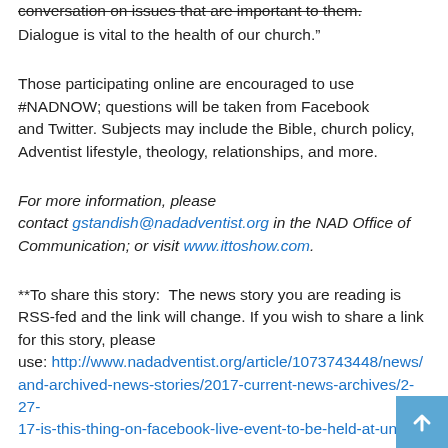conversation on issues that are important to them.
&shy;Dialogue is vital to the health of our church.&rdquo;
&nbsp;
Those participating online are encouraged to use #NADNOW; questions will be taken from Facebook and&nbsp;Twitter. Subjects may include the Bible, church policy, Adventist lifestyle, theology, relationships, and more.
&nbsp;
For more information, please contact&nbsp;gstandish@nadadventist.org&nbsp;in the NAD Office of Communication; or visit&nbsp;www.ittoshow.com.
&nbsp;
**To share this story:&nbsp; The news story you are reading is RSS-fed and the link will change. If you wish to share a link for this story, please use:&nbsp;http://www.nadadventist.org/article/1073743448/news/and-archived-news-stories/2017-current-news-archives/2-27-17-is-this-thing-on-facebook-live-event-to-be-held-at-union-